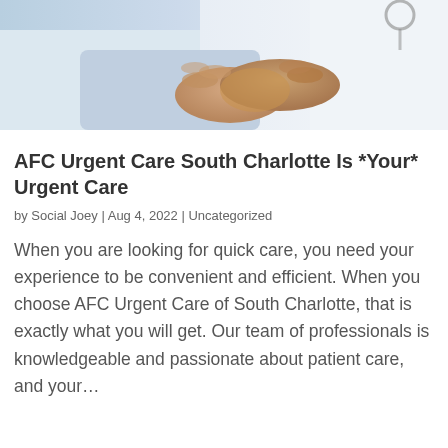[Figure (photo): Two people shaking hands, one in a white doctor's coat, photographed from the torso down, suggesting a doctor-patient or professional handshake. Background is light and blurred.]
AFC Urgent Care South Charlotte Is *Your* Urgent Care
by Social Joey | Aug 4, 2022 | Uncategorized
When you are looking for quick care, you need your experience to be convenient and efficient. When you choose AFC Urgent Care of South Charlotte, that is exactly what you will get. Our team of professionals is knowledgeable and passionate about patient care, and your...